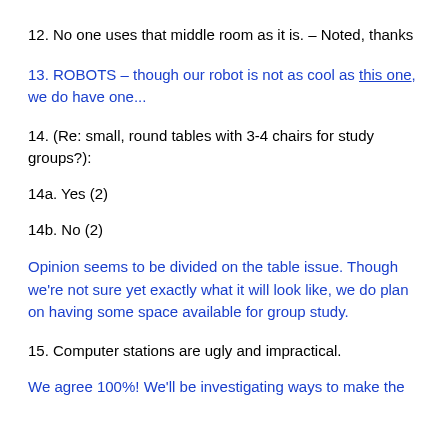12. No one uses that middle room as it is. – Noted, thanks
13. ROBOTS – though our robot is not as cool as this one, we do have one...
14. (Re: small, round tables with 3-4 chairs for study groups?):
14a. Yes (2)
14b. No (2)
Opinion seems to be divided on the table issue. Though we're not sure yet exactly what it will look like, we do plan on having some space available for group study.
15. Computer stations are ugly and impractical.
We agree 100%! We'll be investigating ways to make the